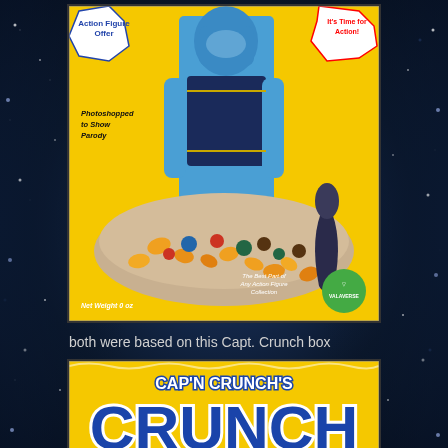[Figure (photo): Parody cereal box with a blue superhero/robot action figure character on yellow background. Text reads 'Action Figure Offer', 'It's Time for Action!', 'Photoshopped to Show Parody', 'Net Weight 0 oz', 'The Best Part of Any Action Figure Collection', and shows a bowl of colorful cereal with a dark spoon. Valaverse logo in green circle bottom right.]
both were based on this Capt. Crunch box
[Figure (photo): Cap'n Crunch's Crunch cereal box - bottom portion visible showing the brand name 'Cap'n Crunch's' in white text and 'CRUNCH' in large blue letters on yellow background.]